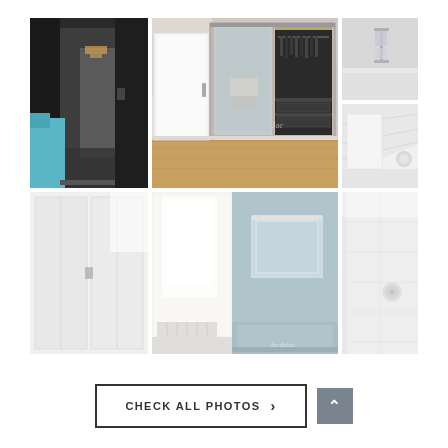[Figure (photo): Collage of 7 interior room photos showing hallway/dark corridor with teal chair, large closet/wardrobe with mirror sliding doors and hanging clothes, bathroom with bathtub, white closet doors with angled ceiling, bright minimalist room panels, bedroom with mirror and light blue wall, and white bathroom detail closeup.]
CHECK ALL PHOTOS >